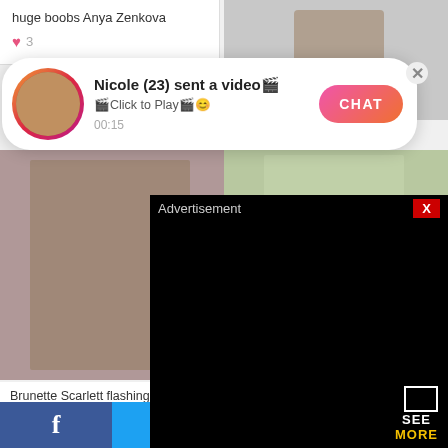huge boobs Anya Zenkova
♥ 3
[Figure (photo): Notification popup: Nicole (23) sent a video. Click to Play. 00:15. CHAT button.]
[Figure (photo): Brunette woman in red top and short skirt posing]
[Figure (photo): Outdoor photo of a person]
Naughty girls Davina E and Jane E has lesbian sex
Brunette Scarlett flashing her juicy and pink pussy in
♥ 3
[Figure (photo): User avatar for pietro]
pietro
FTV Girls
[Figure (screenshot): Advertisement overlay - black rectangle with SEE MORE label]
f  (Facebook share button)  Twitter share button